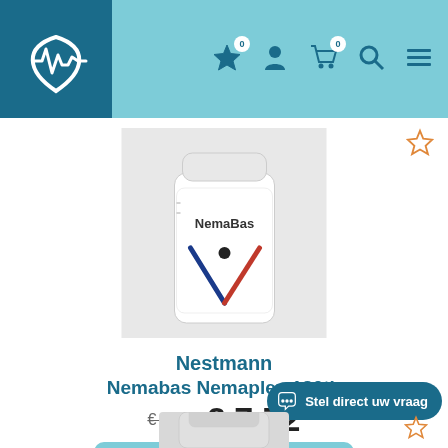Website header with logo and navigation icons: favorites (0), account, cart (0), search, menu
[Figure (photo): White pill bottle labeled NemaBas with Nestmann branding and colorful logo on white background]
Nestmann Nemabas Nemaplex 120tb
€9,08  €7,72
In winkelwagen
Stel direct uw vraag
[Figure (photo): Partial view of another product at bottom of page]